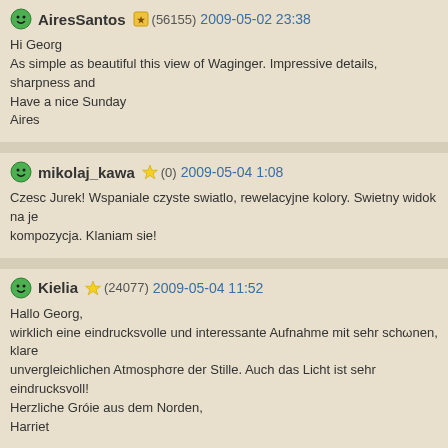AiresSantos (56155) 2009-05-02 23:38 — Hi Georg
As simple as beautiful this view of Waginger. Impressive details, sharpness and
Have a nice Sunday
Aires
mikolaj_kawa (0) 2009-05-04 1:08 — Czesc Jurek! Wspaniale czyste swiatlo, rewelacyjne kolory. Swietny widok na je kompozycja. Klaniam sie!
Kielia (24077) 2009-05-04 11:52 — Hallo Georg,
wirklich eine eindrucksvolle und interessante Aufnahme mit sehr schonen, klare unvergleichlichen Atmosphore der Stille. Auch das Licht ist sehr eindrucksvoll!
Herzliche Groie aus dem Norden,
Harriet
leo61 (0) 2009-05-04 21:25